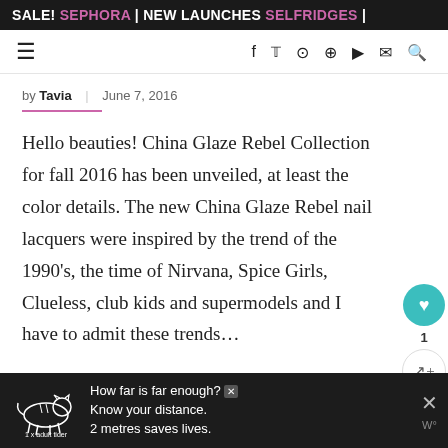SALE! SEPHORA | NEW LAUNCHES SELFRIDGES |
Navigation bar with hamburger menu and social icons: f, twitter, instagram, pinterest, youtube, email, search
by Tavia  |  June 7, 2016
Hello beauties! China Glaze Rebel Collection for fall 2016 has been unveiled, at least the color details. The new China Glaze Rebel nail lacquers were inspired by the trend of the 1990's, the time of Nirvana, Spice Girls, Clueless, club kids and supermodels and I have to admit these trends…
[Figure (other): Bottom advertisement banner: tiger illustration with text 'How far is far enough? Know your distance. 2 metres saves lives.' and '1 x adult tiger' label. Dark background with close button.]